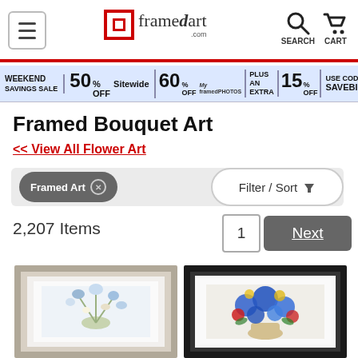framedart.com — navigation header with hamburger menu, logo, search and cart icons
[Figure (screenshot): Weekend Savings Sale banner: 50% Off Sitewide, 60% Off My Framed Photos, Plus An Extra 15% Off, Use Code SAVEBIG]
Framed Bouquet Art
<< View All Flower Art
Framed Art ⊗  |  Filter / Sort
2,207 Items
1  Next
[Figure (photo): Silver framed artwork showing a bouquet of blue and white wildflowers in a white vase on light background]
[Figure (photo): Black framed artwork showing a vibrant bouquet of blue, red, and yellow flowers on a light background]